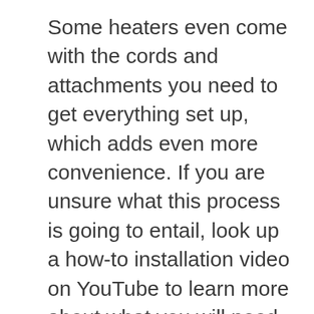Some heaters even come with the cords and attachments you need to get everything set up, which adds even more convenience. If you are unsure what this process is going to entail, look up a how-to installation video on YouTube to learn more about what you will need to do to set it up.